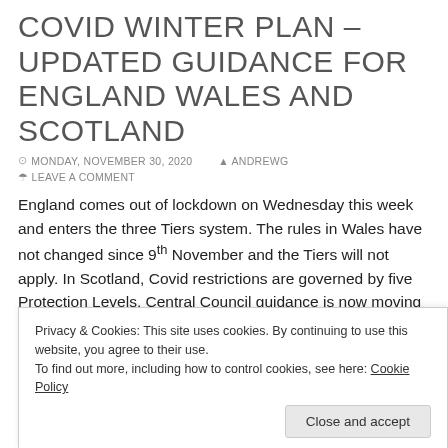COVID WINTER PLAN – UPDATED GUIDANCE FOR ENGLAND WALES AND SCOTLAND
MONDAY, NOVEMBER 30, 2020  ANDREWG  LEAVE A COMMENT
England comes out of lockdown on Wednesday this week and enters the three Tiers system. The rules in Wales have not changed since 9th November and the Tiers will not apply. In Scotland, Covid restrictions are governed by five Protection Levels. Central Council guidance is now moving to respond to these developments.
Privacy & Cookies: This site uses cookies. By continuing to use this website, you agree to their use. To find out more, including how to control cookies, see here: Cookie Policy
Close and accept